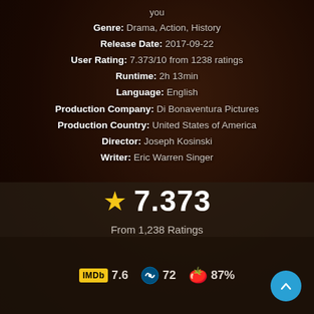you
Genre: Drama, Action, History
Release Date: 2017-09-22
User Rating: 7.373/10 from 1238 ratings
Runtime: 2h 13min
Language: English
Production Company: Di Bonaventura Pictures
Production Country: United States of America
Director: Joseph Kosinski
Writer: Eric Warren Singer
★ 7.373
From 1,238 Ratings
IMDb 7.6  72  87%